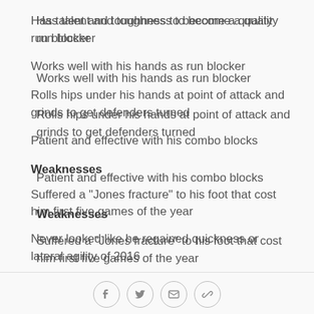Has talent and toughness to become a quality run blocker
Works well with his hands as run blocker
Rolls hips under his hands at point of attack and grinds to get defenders turned
Patient and effective with his combo blocks
Weaknesses
Suffered a "Jones fracture" to his foot that cost him first five games of the year
Never looked like he regained quickness or lateral agility of 2016
Social share icons: Facebook, Twitter, Email, Link